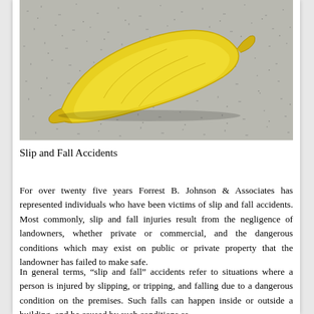[Figure (photo): Photo of a banana peel on a concrete/stone floor surface, seen from above. The banana peel is yellow and crescent-shaped, lying on grey speckled pavement.]
Slip and Fall Accidents
For over twenty five years Forrest B. Johnson & Associates has represented individuals who have been victims of slip and fall accidents. Most commonly, slip and fall injuries result from the negligence of landowners, whether private or commercial, and the dangerous conditions which may exist on public or private property that the landowner has failed to make safe.
In general terms, “slip and fall” accidents refer to situations where a person is injured by slipping, or tripping, and falling due to a dangerous condition on the premises. Such falls can happen inside or outside a building, and be caused by such conditions as